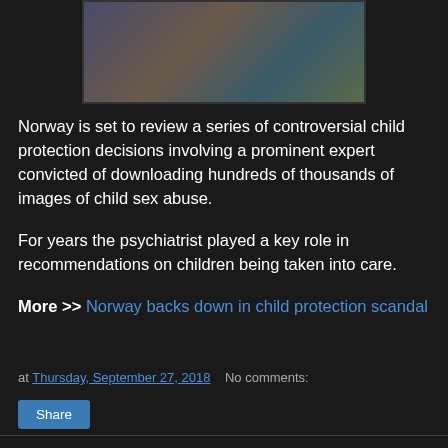[Figure (photo): Partial photo showing people including children, cropped at top of page]
Norway is set to review a series of controversial child protection decisions involving a prominent expert convicted of downloading hundreds of thousands of images of child sex abuse.
For years the psychiatrist played a key role in recommendations on children being taken into care.
More >> Norway backs down in child protection scandal
at Thursday, September 27, 2018   No comments:
Share